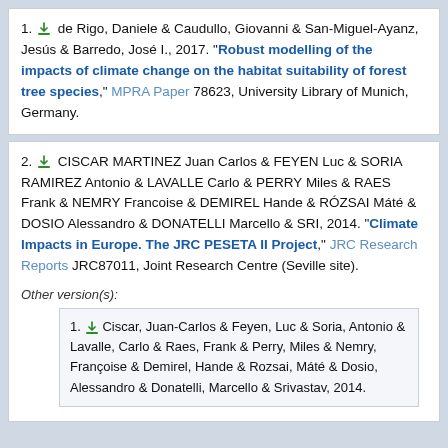1. [download icon] de Rigo, Daniele & Caudullo, Giovanni & San-Miguel-Ayanz, Jesús & Barredo, José I., 2017. "Robust modelling of the impacts of climate change on the habitat suitability of forest tree species," MPRA Paper 78623, University Library of Munich, Germany.
2. [download icon] CISCAR MARTINEZ Juan Carlos & FEYEN Luc & SORIA RAMIREZ Antonio & LAVALLE Carlo & PERRY Miles & RAES Frank & NEMRY Francoise & DEMIREL Hande & RÓZSAI Máté & DOSIO Alessandro & DONATELLI Marcello & SRI, 2014. "Climate Impacts in Europe. The JRC PESETA II Project," JRC Research Reports JRC87011, Joint Research Centre (Seville site).
Other version(s):
1. [download icon] Ciscar, Juan-Carlos & Feyen, Luc & Soria, Antonio & Lavalle, Carlo & Raes, Frank & Perry, Miles & Nemry, Françoise & Demirel, Hande & Rozsai, Máté & Dosio, Alessandro & Donatelli, Marcello & Srivastav, 2014.